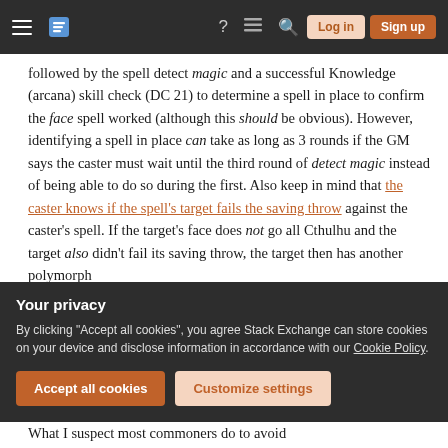Stack Exchange navigation bar with hamburger menu, logo, help, chat, search icons, Log in and Sign up buttons
followed by the spell detect magic and a successful Knowledge (arcana) skill check (DC 21) to determine a spell in place to confirm the face spell worked (although this should be obvious). However, identifying a spell in place can take as long as 3 rounds if the GM says the caster must wait until the third round of detect magic instead of being able to do so during the first. Also keep in mind that the caster knows if the spell's target fails the saving throw against the caster's spell. If the target's face does not go all Cthulhu and the target also didn't fail its saving throw, the target then has another polymorph
Your privacy
By clicking "Accept all cookies", you agree Stack Exchange can store cookies on your device and disclose information in accordance with our Cookie Policy.
Accept all cookies   Customize settings
What I suspect most commoners do to avoid